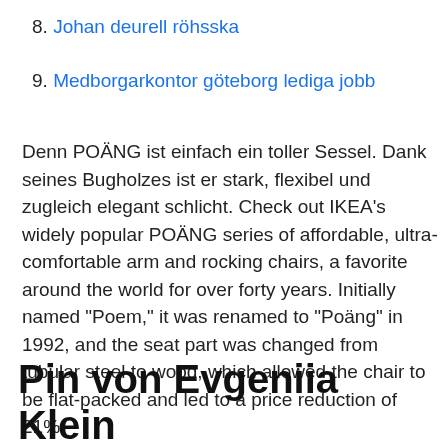8. Johan deurell röhsska
9. Medborgarkontor göteborg lediga jobb
Denn POÄNG ist einfach ein toller Sessel. Dank seines Bugholzes ist er stark, flexibel und zugleich elegant schlicht. Check out IKEA's widely popular POÄNG series of affordable, ultra-comfortable arm and rocking chairs, a favorite around the world for over forty years. Initially named "Poem," it was renamed to "Poäng" in 1992, and the seat part was changed from tubular steel to wood, which allowed the chair to be flat-packed and led to a price reduction of 21%.
Pin von Evgeniia Klein